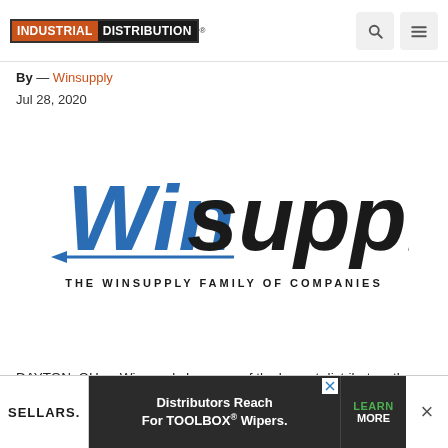INDUSTRIAL DISTRIBUTION
By — Winsupply
Jul 28, 2020
[Figure (logo): Winsupply logo — blue 'Win' and black 'supply' wordmark with tagline 'THE WINSUPPLY FAMILY OF COMPANIES']
DAYTON, OH — Winsupply Inc., one of the largest distrib... the president of Winsupply Equity Group and Chris
[Figure (other): Advertisement banner: SELLARS — Distributors Reach For TOOLBOX® Wipers. LEARN MORE]